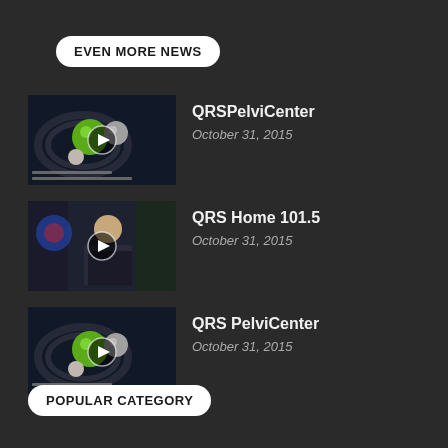EVEN MORE NEWS
[Figure (screenshot): Video thumbnail for QRSPelviCenter - animated 3D spheres on dark background with play button overlay]
QRSPelviCenter
October 31, 2015
[Figure (screenshot): Video thumbnail showing a man in a suit being interviewed, with play button overlay]
QRS Home 101.5
October 31, 2015
[Figure (screenshot): Video thumbnail for QRS PelviCenter - animated 3D spheres on dark background with play button overlay]
QRS PelviCenter
October 31, 2015
POPULAR CATEGORY